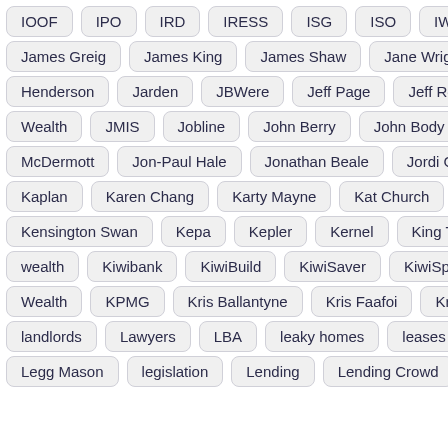IOOF, IPO, IRD, IRESS, ISG, ISO, IWlinvestor, J
James Greig, James King, James Shaw, Jane Wrightson
Henderson, Jarden, JBWere, Jeff Page, Jeff Royle, Jer
Wealth, JMIS, Jobline, John Berry, John Body, John Bo
McDermott, Jon-Paul Hale, Jonathan Beale, Jordi Garcia
Kaplan, Karen Chang, Karty Mayne, Kat Church, Katrina
Kensington Swan, Kepa, Kepler, Kernel, King Tide, Ki
wealth, Kiwibank, KiwiBuild, KiwiSaver, KiwiSpend, Kiw
Wealth, KPMG, Kris Ballantyne, Kris Faafoi, Kris Pederse
landlords, Lawyers, LBA, leaky homes, leases, legacy
Legg Mason, legislation, Lending, Lending Crowd, Lend